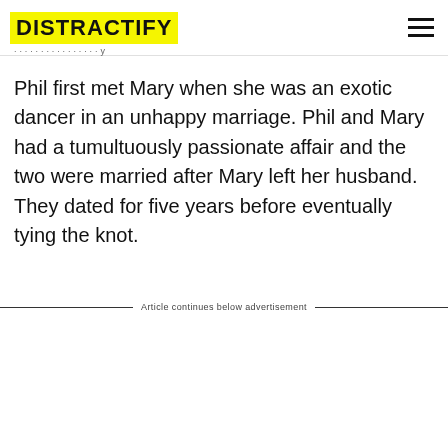DISTRACTIFY
Phil first met Mary when she was an exotic dancer in an unhappy marriage. Phil and Mary had a tumultuously passionate affair and the two were married after Mary left her husband. They dated for five years before eventually tying the knot.
Article continues below advertisement